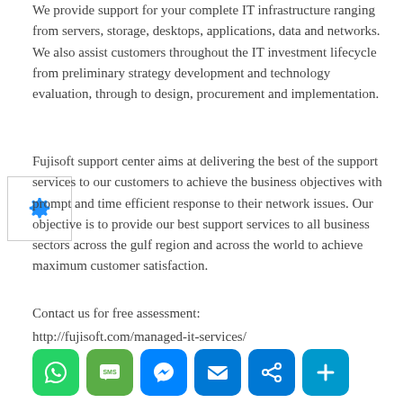We provide support for your complete IT infrastructure ranging from servers, storage, desktops, applications, data and networks. We also assist customers throughout the IT investment lifecycle from preliminary strategy development and technology evaluation, through to design, procurement and implementation.
Fujisoft support center aims at delivering the best of the support services to our customers to achieve the business objectives with prompt and time efficient response to their network issues. Our objective is to provide our best support services to all business sectors across the gulf region and across the world to achieve maximum customer satisfaction.
Contact us for free assessment:
http://fujisoft.com/managed-it-services/
[Figure (other): Row of six social media sharing icon buttons: WhatsApp (green), SMS (green), Messenger (blue), Email (blue), Share/link (blue), Add/plus (blue)]